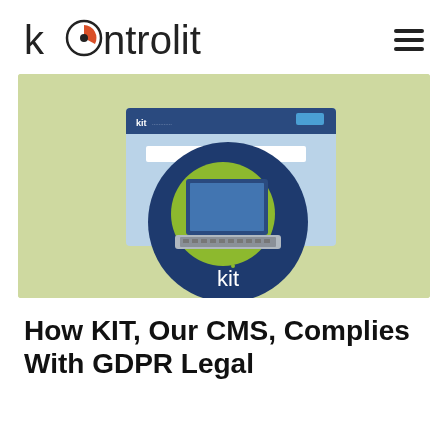kontrolit
[Figure (illustration): Illustration of the KIT CMS product: a dark navy blue circle containing a laptop on a lime green circle, overlaid on a browser window UI with a dark blue header bar labeled 'kit', on a light olive/sage green background. The word 'kit' appears in white text at the bottom of the navy circle.]
How KIT, Our CMS, Complies With GDPR Legal